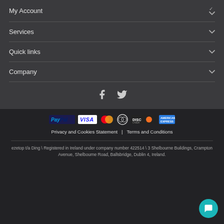My Account
Services
Quick links
Company
[Figure (illustration): Social media icons: Facebook and Twitter]
[Figure (infographic): Payment method logos: PayPal, VISA, Mastercard, Diners Club, Discover, American Express]
Privacy and Cookies Statement | Terms and Conditions
ezetop t/a Ding \ Registered in Ireland under company number 422514 \ 3 Shelbourne Buildings, Crampton Avenue, Shelbourne Road, Ballsbridge, Dublin 4, Ireland.